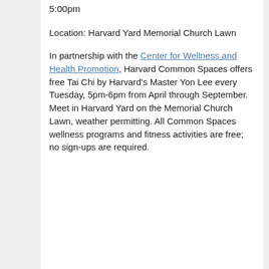5:00pm
Location: Harvard Yard Memorial Church Lawn
In partnership with the Center for Wellness and Health Promotion, Harvard Common Spaces offers free Tai Chi by Harvard's Master Yon Lee every Tuesday, 5pm-6pm from April through September. Meet in Harvard Yard on the Memorial Church Lawn, weather permitting. All Common Spaces wellness programs and fitness activities are free; no sign-ups are required.